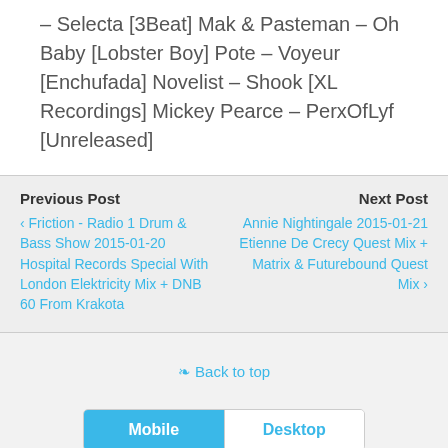– Selecta [3Beat] Mak & Pasteman – Oh Baby [Lobster Boy] Pote – Voyeur [Enchufada] Novelist – Shook [XL Recordings] Mickey Pearce – PerxOfLyf [Unreleased]
Previous Post
❮ Friction - Radio 1 Drum & Bass Show 2015-01-20 Hospital Records Special With London Elektricity Mix + DNB 60 From Krakota
Next Post
Annie Nightingale 2015-01-21 Etienne De Crecy Quest Mix + Matrix & Futurebound Quest Mix ❯
⇑ Back to top
Mobile  Desktop